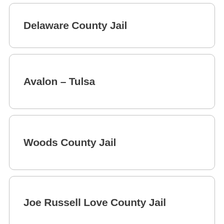Delaware County Jail
Avalon – Tulsa
Woods County Jail
Joe Russell Love County Jail